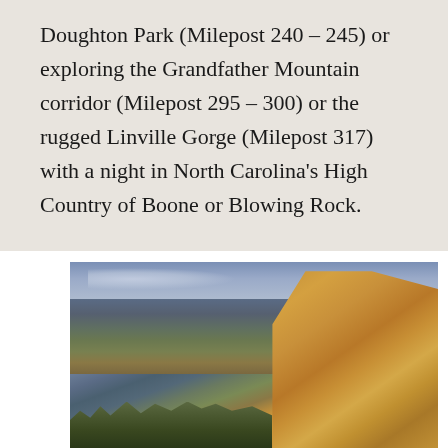Doughton Park (Milepost 240 – 245) or exploring the Grandfather Mountain corridor (Milepost 295 – 300) or the rugged Linville Gorge (Milepost 317) with a night in North Carolina's High Country of Boone or Blowing Rock.
[Figure (photo): Dramatic landscape photograph showing jagged golden rock formations in the foreground on the right, with a sweeping valley view and forested hillsides stretching into the distance under a partly cloudy sky. Warm golden hour lighting illuminates the rocky outcrops.]